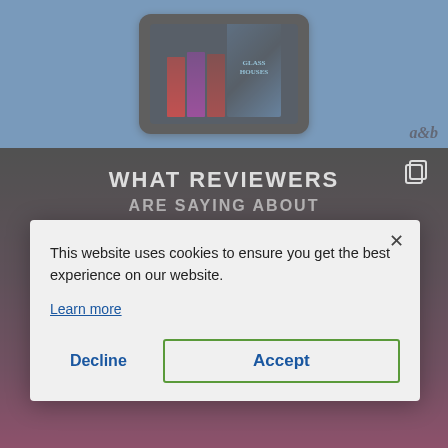[Figure (screenshot): Blue background with tablet device displaying a stack of books including 'Glass Houses'. A&B publisher logo visible bottom right.]
WHAT REVIEWERS ARE SAYING ABOUT
[Figure (screenshot): Cookie consent popup overlay. Text reads: This website uses cookies to ensure you get the best experience on our website. Learn more. Buttons: Decline, Accept. Close X button visible. Background shows partial book review content on dark/pink gradient.]